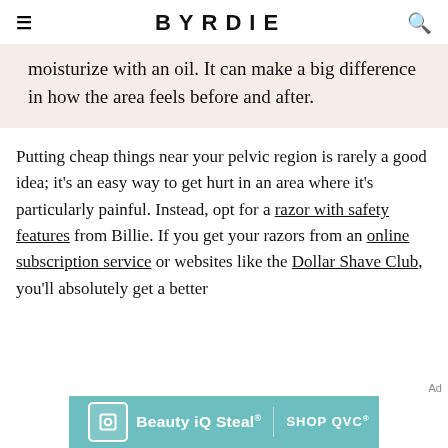BYRDIE
moisturize with an oil. It can make a big difference in how the area feels before and after.
Putting cheap things near your pelvic region is rarely a good idea; it's an easy way to get hurt in an area where it's particularly painful. Instead, opt for a razor with safety features from Billie. If you get your razors from an online subscription service or websites like the Dollar Shave Club, you'll absolutely get a better
[Figure (other): QVC Beauty iQ Steal advertisement banner with teal background]